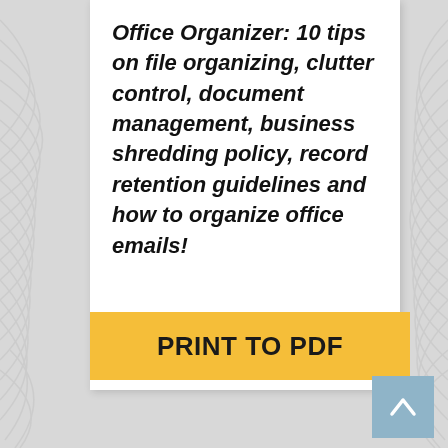Office Organizer: 10 tips on file organizing, clutter control, document management, business shredding policy, record retention guidelines and how to organize office emails!
PRINT TO PDF